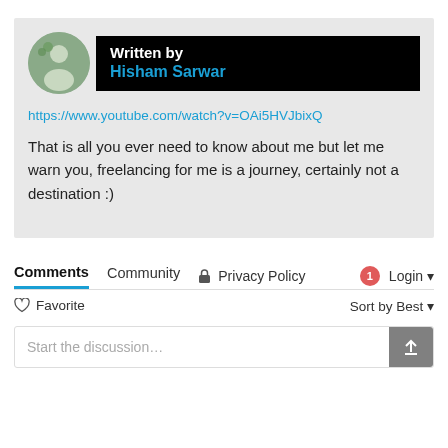Written by
Hisham Sarwar
https://www.youtube.com/watch?v=OAi5HVJbixQ
That is all you ever need to know about me but let me warn you, freelancing for me is a journey, certainly not a destination :)
Comments
Community
Privacy Policy
Login
Favorite
Sort by Best
Start the discussion…